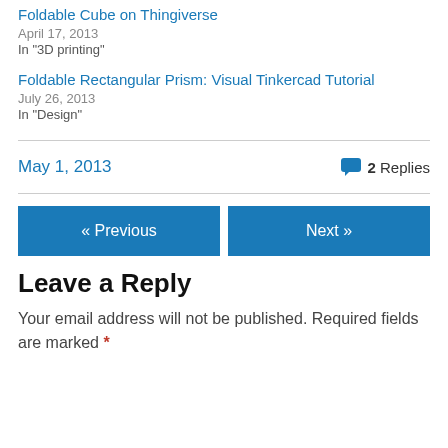Foldable Cube on Thingiverse
April 17, 2013
In "3D printing"
Foldable Rectangular Prism: Visual Tinkercad Tutorial
July 26, 2013
In "Design"
May 1, 2013
2 Replies
« Previous
Next »
Leave a Reply
Your email address will not be published. Required fields are marked *